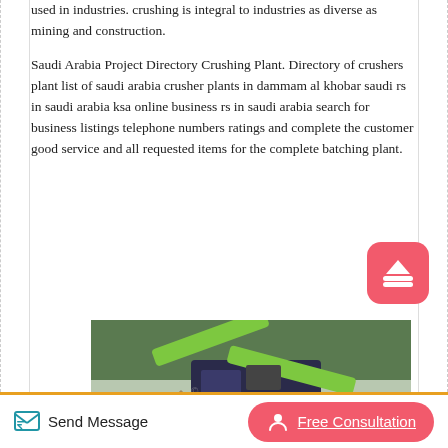used in industries. crushing is integral to industries as diverse as mining and construction.
Saudi Arabia Project Directory Crushing Plant. Directory of crushers plant list of saudi arabia crusher plants in dammam al khobar saudi rs in saudi arabia ksa online business rs in saudi arabia search for business listings telephone numbers ratings and complete the customer good service and all requested items for the complete batching plant.
[Figure (photo): Photo of a mobile crushing plant with green conveyor systems and machinery at a mining/construction site, with piles of crushed aggregate material in the foreground.]
Send Message
Free Consultation